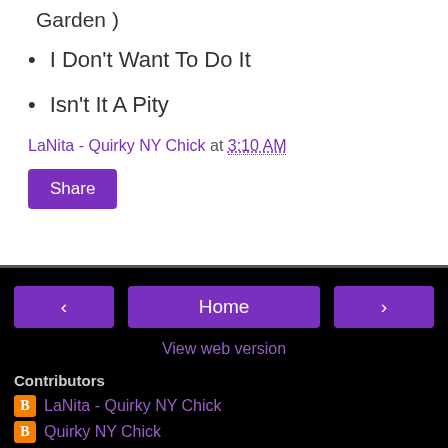Garden )
I Don't Want To Do It
Isn't It A Pity
LaNita - Quirky NY Chick at 3:10 AM
Share
< Home > View web version Contributors LaNita - Quirky NY Chick Quirky NY Chick Powered by Blogger.